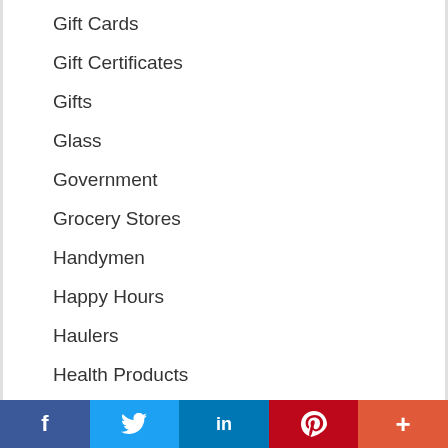Gift Cards
Gift Certificates
Gifts
Glass
Government
Grocery Stores
Handymen
Happy Hours
Haulers
Health Products
Health Services
Healthcare
Heating Services
Hobby
f  [Twitter bird]  in  P  +